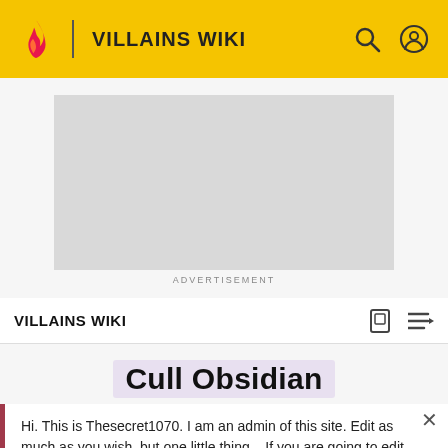VILLAINS WIKI
[Figure (screenshot): Advertisement placeholder (gray rectangle)]
ADVERTISEMENT
VILLAINS WIKI
Cull Obsidian
Hi. This is Thesecret1070. I am an admin of this site. Edit as much as you wish, but one little thing... If you are going to edit a lot, then make yourself a user and login. Other than that, enjoy Villains Wiki!!!